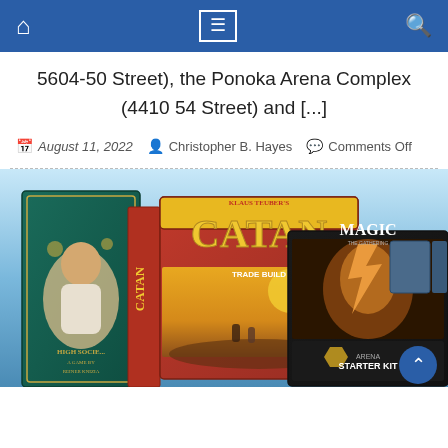Navigation bar with home, menu, and search icons
5604-50 Street), the Ponoka Arena Complex (4410 54 Street) and [...]
August 11, 2022   Christopher B. Hayes   Comments Off
[Figure (photo): Photo showing board game boxes including High Society, Catan (Trade Build), and Magic: The Gathering Arena Starter Kit against a blue sky background]